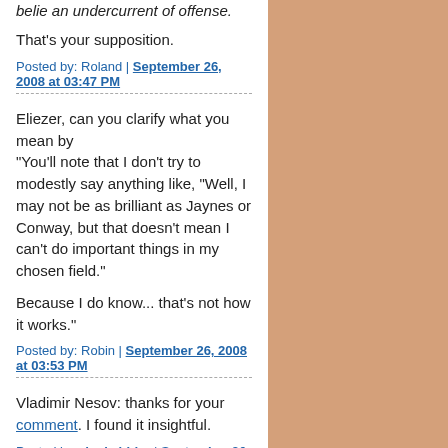belie an undercurrent of offense.
That's your supposition.
Posted by: Roland | September 26, 2008 at 03:47 PM
Eliezer, can you clarify what you mean by "You'll note that I don't try to modestly say anything like, "Well, I may not be as brilliant as Jaynes or Conway, but that doesn't mean I can't do important things in my chosen field."
Because I do know... that's not how it works."
Posted by: Robin | September 26, 2008 at 03:53 PM
Vladimir Nesov: thanks for your comment. I found it insightful.
Posted by: denis bider | September 26, 2008 at 03:55 PM